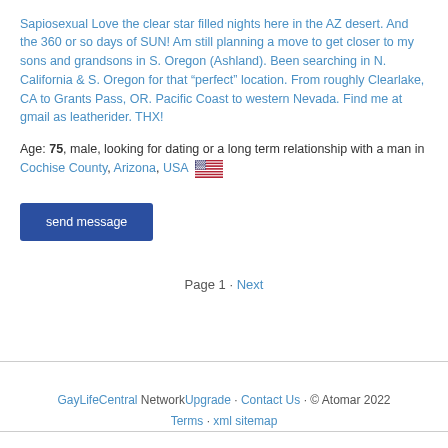Sapiosexual Love the clear star filled nights here in the AZ desert. And the 360 or so days of SUN! Am still planning a move to get closer to my sons and grandsons in S. Oregon (Ashland). Been searching in N. California & S. Oregon for that "perfect" location. From roughly Clearlake, CA to Grants Pass, OR. Pacific Coast to western Nevada. Find me at gmail as leatherider. THX!
Age: 75, male, looking for dating or a long term relationship with a man in Cochise County, Arizona, USA 🇺🇸
send message
Page 1 · Next
GayLifeCentral NetworkUpgrade · Contact Us · © Atomar 2022 Terms · xml sitemap